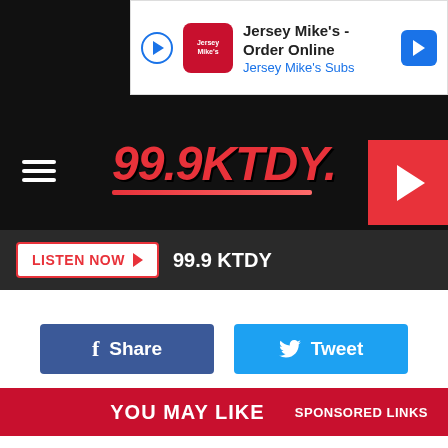[Figure (screenshot): Jersey Mike's advertisement banner with play button, logo, text 'Jersey Mike's - Order Online / Jersey Mike's Subs', and blue arrow icon]
[Figure (logo): 99.9 KTDY radio station logo in red italic text on dark background, with red play button in top right corner and hamburger menu icon on left]
LISTEN NOW ▶   99.9 KTDY
[Figure (screenshot): Facebook Share button (dark blue) and Twitter Tweet button (light blue) side by side]
YOU MAY LIKE
SPONSORED LINKS
[Figure (illustration): Cartoon illustration of a person crying or yawning with mouth open wide, showing brown hair and exaggerated facial expression]